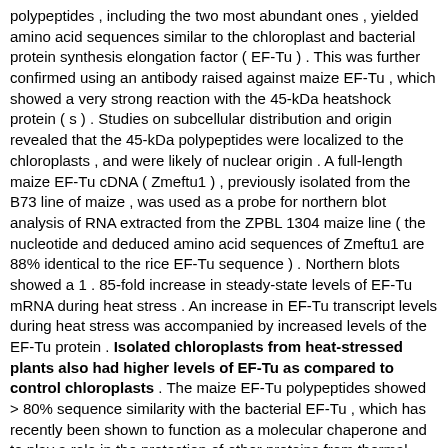polypeptides , including the two most abundant ones , yielded amino acid sequences similar to the chloroplast and bacterial protein synthesis elongation factor ( EF-Tu ) . This was further confirmed using an antibody raised against maize EF-Tu , which showed a very strong reaction with the 45-kDa heatshock protein ( s ) . Studies on subcellular distribution and origin revealed that the 45-kDa polypeptides were localized to the chloroplasts , and were likely of nuclear origin . A full-length maize EF-Tu cDNA ( Zmeftu1 ) , previously isolated from the B73 line of maize , was used as a probe for northern blot analysis of RNA extracted from the ZPBL 1304 maize line ( the nucleotide and deduced amino acid sequences of Zmeftu1 are 88% identical to the rice EF-Tu sequence ) . Northern blots showed a 1 . 85-fold increase in steady-state levels of EF-Tu mRNA during heat stress . An increase in EF-Tu transcript levels during heat stress was accompanied by increased levels of the EF-Tu protein . Isolated chloroplasts from heat-stressed plants also had higher levels of EF-Tu as compared to control chloroplasts . The maize EF-Tu polypeptides showed > 80% sequence similarity with the bacterial EF-Tu , which has recently been shown to function as a molecular chaperone and to play a role in the protection of other proteins from thermal denaturation ( Caldas et al , 1998 , J Biol . Chem . 273 : 11478-11482 ) . It is hypothesized that chloroplast EF-Tu of the ZPBL 1304 maize line plays an important role in the development of thermotolerance .
[ Sen. 14, subscore: 1.00 ]: In the present study , we isolated these polypeptides , sequenced them , and investigated their subcellular distribution and origin . Of the five polypeptides of 45 kDa , three polypeptides , including the two most abundant ones , yielded amino acid sequences similar to the chloroplast and bacterial protein synthesis elongation factor ( EF-Tu ) . This was further confirmed using an antibody raised against maize EF-Tu , which showed a very strong reaction with the 45-kDa heatshock protein ( s ) . Studies on subcellular